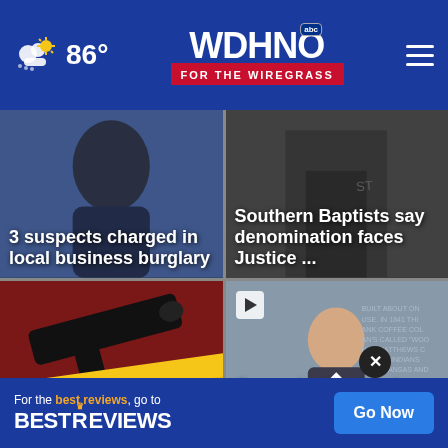WDHN ABC FOR THE WIREGRASS — 86°
[Figure (photo): Man's face close-up, blue background — news card for burglary story]
3 suspects charged in local business burglary
[Figure (photo): Dark stone/building background — news card for Southern Baptists story]
Southern Baptists say denomination faces Justice ...
[Figure (photo): Crime scene tape and gun on dark red background]
Robbery attempt in Dal; wit shot
[Figure (photo): Man in suit outdoors, stone monument in background — jury selection story]
Jury selection begins in al; witness
For the best reviews, go to BESTREVIEWS — Go Now